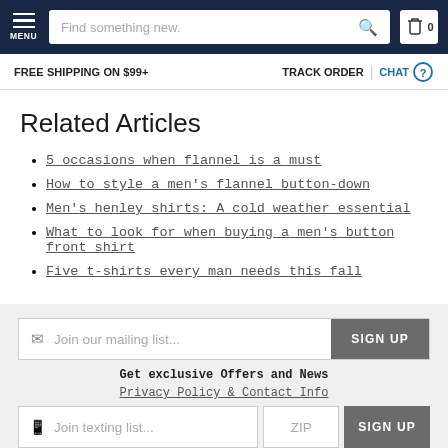MENU | Find something new. | 0
FREE SHIPPING ON $99+   TRACK ORDER | CHAT
Related Articles
5 occasions when flannel is a must
How to style a men's flannel button-down
Men's henley shirts: A cold weather essential
What to look for when buying a men's button front shirt
Five t-shirts every man needs this fall
Join our mailing list...   SIGN UP
Get exclusive Offers and News
Privacy Policy & Contact Info
Join texting list...   ZIP   SIGN UP